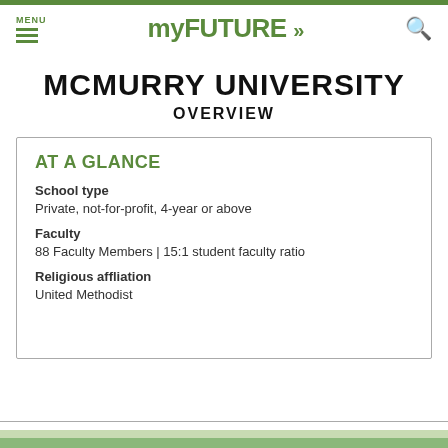MENU | myFUTURE >> | [search]
MCMURRY UNIVERSITY
OVERVIEW
AT A GLANCE
School type
Private, not-for-profit, 4-year or above
Faculty
88 Faculty Members | 15:1 student faculty ratio
Religious affliation
United Methodist